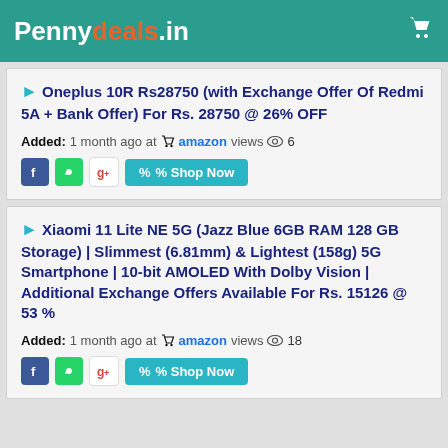Pennydeals.in
Oneplus 10R Rs28750 (with Exchange Offer Of Redmi 5A + Bank Offer) For Rs. 28750 @ 26% OFF
Added: 1 month ago at amazon views 6
Xiaomi 11 Lite NE 5G (Jazz Blue 6GB RAM 128 GB Storage) | Slimmest (6.81mm) & Lightest (158g) 5G Smartphone | 10-bit AMOLED With Dolby Vision | Additional Exchange Offers Available For Rs. 15126 @ 53 %
Added: 1 month ago at amazon views 18